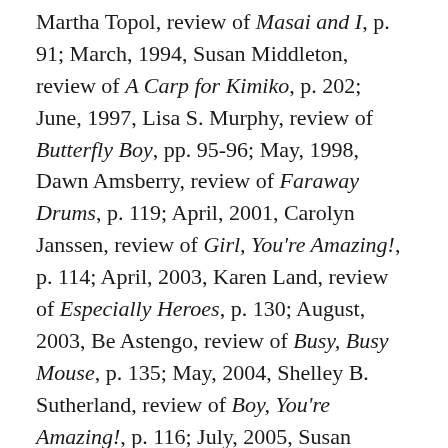Martha Topol, review of Masai and I, p. 91; March, 1994, Susan Middleton, review of A Carp for Kimiko, p. 202; June, 1997, Lisa S. Murphy, review of Butterfly Boy, pp. 95-96; May, 1998, Dawn Amsberry, review of Faraway Drums, p. 119; April, 2001, Carolyn Janssen, review of Girl, You're Amazing!, p. 114; April, 2003, Karen Land, review of Especially Heroes, p. 130; August, 2003, Be Astengo, review of Busy, Busy Mouse, p. 135; May, 2004, Shelley B. Sutherland, review of Boy, You're Amazing!, p. 116; July, 2005, Susan Weitz, review of Brianna Breathes Easy, p. 76; September, 2005, Elaine Lesh Morgan, review of Equal Shmequal, p. 176; January, 2006, Sandra